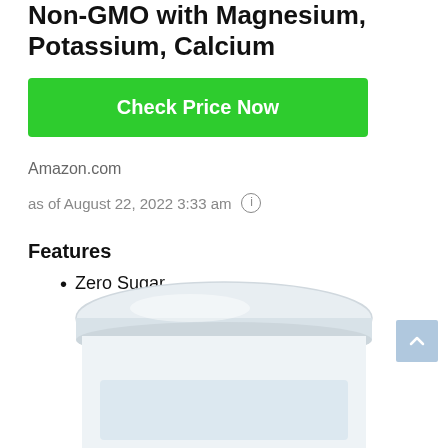Non-GMO with Magnesium, Potassium, Calcium
Check Price Now
Amazon.com
as of August 22, 2022 3:33 am
Features
Zero Sugar
[Figure (photo): Top-down view of a white supplement jar with lid visible, partially cropped at bottom of page]